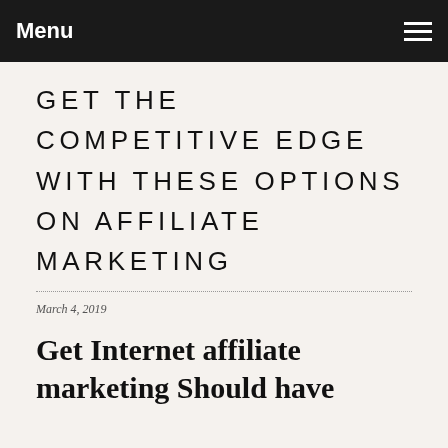Menu
GET THE COMPETITIVE EDGE WITH THESE OPTIONS ON AFFILIATE MARKETING
March 4, 2019
Get Internet affiliate marketing Should have Ideas. Is associate ide